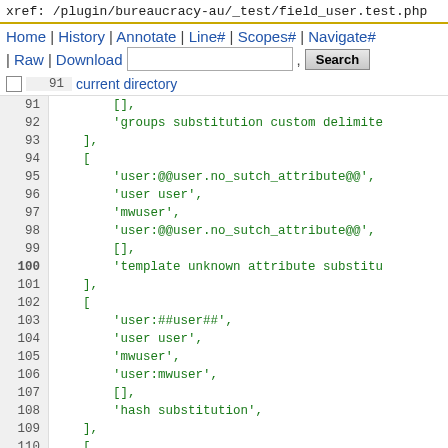xref: /plugin/bureaucracy-au/_test/field_user.test.php
Home | History | Annotate | Line# | Scopes# | Navigate# | Raw | Download  [Search]
current directory
91  []
92  'groups substitution custom delimite
93  ],
94  [
95  'user:@@user.no_sutch_attribute@@',
96  'user user',
97  'mwuser',
98  'user:@@user.no_sutch_attribute@@',
99  [],
100 'template unknown attribute substitu
101 ],
102 [
103 'user:##user##',
104 'user user',
105 'mwuser',
106 'user:mwuser',
107 [],
108 'hash substitution',
109 ],
110 [
111 'user:##user.mail##',
112 'user user',
113 'mwuser',
114 'user:wikiuser@example.com',
115 [],